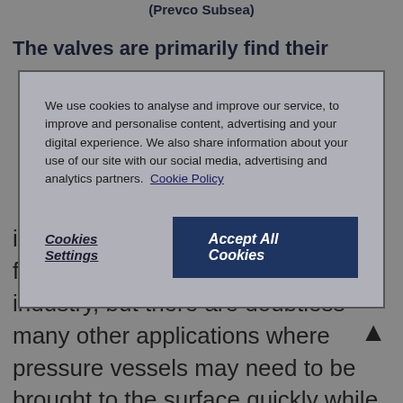(Prevco Subsea)
in use as anulus vent valves for flexible risers in the oil and gas industry, but there are doubtless many other applications where pressure vessels may need to be brought to the surface quickly while oft-gassing any potentially dangerous internal pressure.
We use cookies to analyse and improve our service, to improve and personalise content, advertising and your digital experience. We also share information about your use of our site with our social media, advertising and analytics partners. Cookie Policy
Cookies Settings
Accept All Cookies